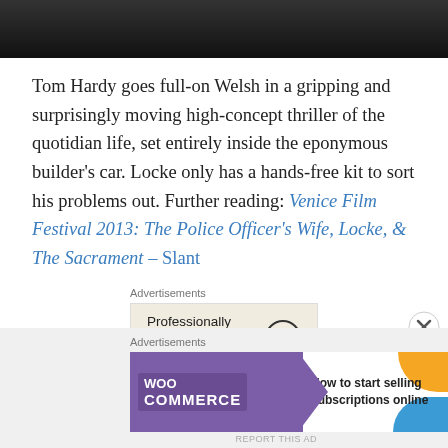[Figure (photo): Dark photo strip at top of page, cropped image with dark background]
Tom Hardy goes full-on Welsh in a gripping and surprisingly moving high-concept thriller of the quotidian life, set entirely inside the eponymous builder's car. Locke only has a hands-free kit to sort his problems out. Further reading: Venice Film Festival 2013: The Police Officer's Wife, Locke, & The Sacrament – Slant
[Figure (screenshot): Advertisements box: WordPress ad — Professionally designed sites in less than a week, with WordPress logo]
* * *
[Figure (screenshot): Advertisements box: WooCommerce ad — How to start selling subscriptions online, with teal arrow and WooCommerce badge]